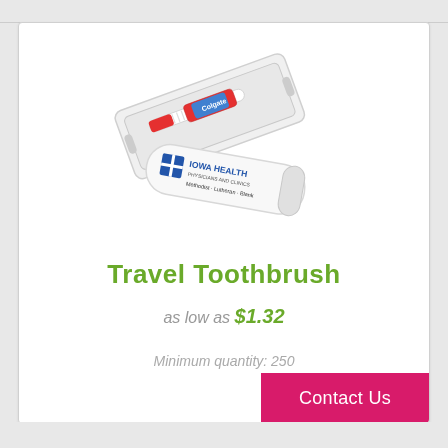[Figure (photo): A travel toothbrush kit showing a white plastic case (open lid) with a toothbrush and small Colgate toothpaste inside, plus a white branded tube labeled Iowa Health Physicians and Clinics, Methodist · Lutheran · Blank in the foreground.]
Travel Toothbrush
as low as $1.32
Minimum quantity: 250
Contact Us